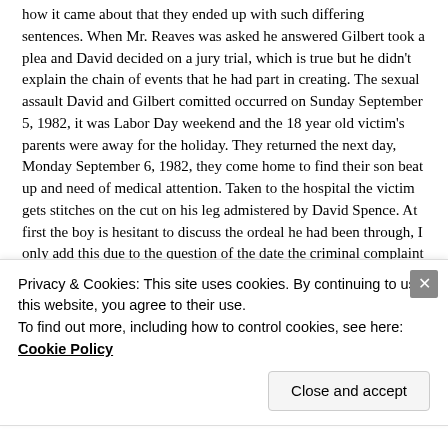how it came about that they ended up with such differing sentences. When Mr. Reaves was asked he answered Gilbert took a plea and David decided on a jury trial, which is true but he didn't explain the chain of events that he had part in creating. The sexual assault David and Gilbert comitted occurred on Sunday September 5, 1982, it was Labor Day weekend and the 18 year old victim's parents were away for the holiday. They returned the next day, Monday September 6, 1982, they come home to find their son beat up and need of medical attention. Taken to the hospital the victim gets stitches on the cut on his leg admistered by David Spence. At first the boy is hesitant to discuss the ordeal he had been through, I only add this due to the question of the date the criminal complaint was filed, either
Privacy & Cookies: This site uses cookies. By continuing to use this website, you agree to their use.
To find out more, including how to control cookies, see here: Cookie Policy